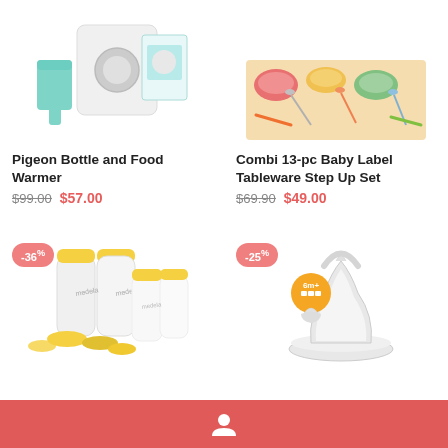[Figure (photo): Pigeon Bottle and Food Warmer product image - white appliance with teal accessories and box]
Pigeon Bottle and Food Warmer
$99.00  $57.00
[Figure (photo): Combi 13-pc Baby Label Tableware Step Up Set - colorful baby tableware set with bowls, spoons, and mat]
Combi 13-pc Baby Label Tableware Step Up Set
$69.90  $49.00
[Figure (photo): Medela breast milk storage bottles set - multiple clear bottles with yellow caps and rings]
[Figure (photo): Baby bottle nipple/teat - clear silicone teat with 6m+ orange badge indicator]